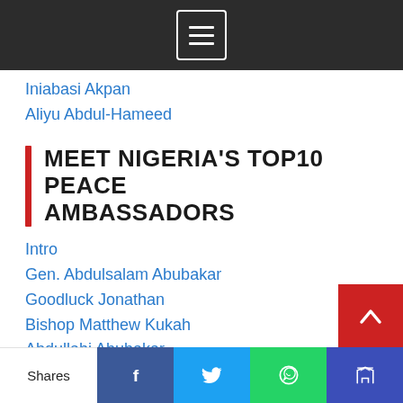Iniabasi Akpan
Aliyu Abdul-Hameed
MEET NIGERIA'S TOP10 PEACE AMBASSADORS
Intro
Gen. Abdulsalam Abubakar
Goodluck Jonathan
Bishop Matthew Kukah
Abdullahi Abubakar
Fatima Akilu
Gen. Yakubu Gowon
Muhammad Sa'ad Abubakar
Shares | Facebook | Twitter | WhatsApp | Crown